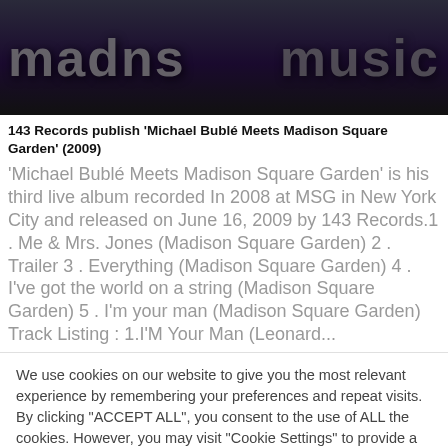[Figure (photo): Dark concert/performance photo banner with large stylized text logos on left and right against a dark purple/black background]
143 Records publish 'Michael Bublé Meets Madison Square Garden' (2009)
'Michael Bublé Meets Madison Square Garden' is his third live album recorded In 2008 at MSG in New York City and released on June 16, 2009 by 143 Records.1 . Me & Mrs. Jones (Madison Square Garden) 2 . Trailer 3 . Everything (Madison Square Garden) 4 . I've got the world on a string (Madison Square Garden) 5 . I'm your man (Madison Square Garden) Track Listing : 1.I'M Your Man (Leonard...
We use cookies on our website to give you the most relevant experience by remembering your preferences and repeat visits. By clicking "ACCEPT ALL", you consent to the use of ALL the cookies. However, you may visit "Cookie Settings" to provide a controlled consent.
Cookie Settings | REJECT ALL | ACCEPT ALL